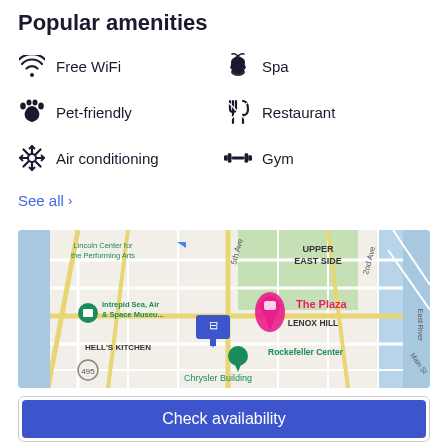Popular amenities
Free WiFi
Spa
Pet-friendly
Restaurant
Air conditioning
Gym
See all >
[Figure (map): Google Maps view of Midtown Manhattan showing The Plaza hotel location, with landmarks including Intrepid Sea, Air & Space Museum, Rockefeller Center, Chrysler Building, Hell's Kitchen, Upper East Side, Lenox Hill neighborhoods. A blue hotel pin marker is visible at the hotel location.]
Check availability